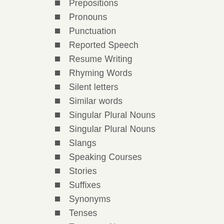Prepositions
Pronouns
Punctuation
Reported Speech
Resume Writing
Rhyming Words
Silent letters
Similar words
Singular Plural Nouns
Singular Plural Nouns
Slangs
Speaking Courses
Stories
Suffixes
Synonyms
Tenses
Transport Names